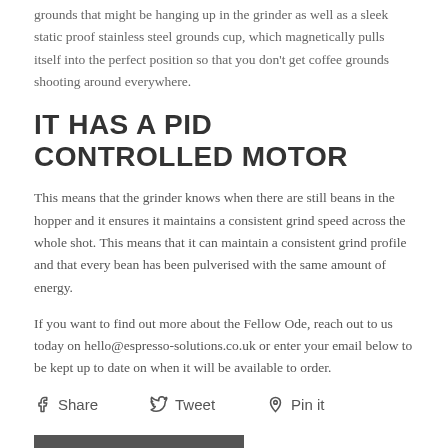grounds that might be hanging up in the grinder as well as a sleek static proof stainless steel grounds cup, which magnetically pulls itself into the perfect position so that you don't get coffee grounds shooting around everywhere.
IT HAS A PID CONTROLLED MOTOR
This means that the grinder knows when there are still beans in the hopper and it ensures it maintains a consistent grind speed across the whole shot. This means that it can maintain a consistent grind profile and that every bean has been pulverised with the same amount of energy.
If you want to find out more about the Fellow Ode, reach out to us today on hello@espresso-solutions.co.uk or enter your email below to be kept up to date on when it will be available to order.
Share   Tweet   Pin it